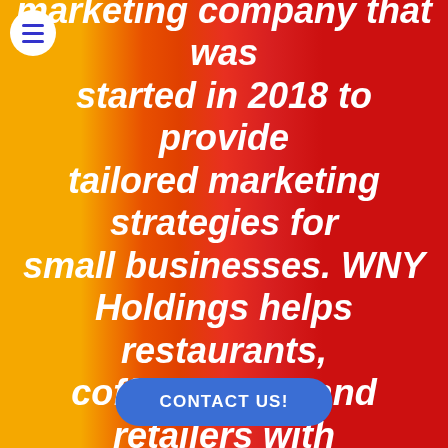marketing company that was started in 2018 to provide tailored marketing strategies for small businesses. WNY Holdings helps restaurants, coffee shops, and retailers with all their digital marketing needs, from content marketing, web and graphic design, media creation, SEO, all the way to Facebook advertising.
CONTACT US!